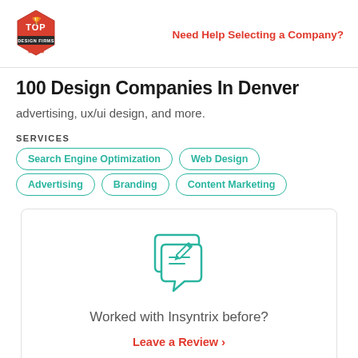Top Design Firms logo | Need Help Selecting a Company?
100 Design Companies In Denver
advertising, ux/ui design, and more.
SERVICES
Search Engine Optimization
Web Design
Advertising
Branding
Content Marketing
[Figure (illustration): Teal icon of a speech bubble with a document and pencil, representing a review]
Worked with Insyntrix before?
Leave a Review >